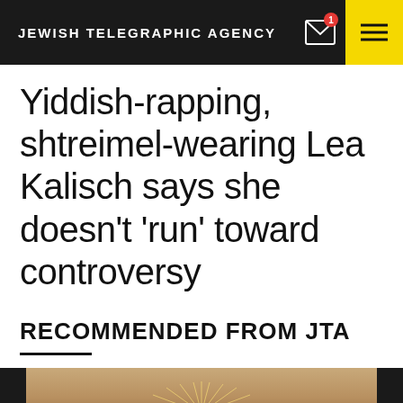JEWISH TELEGRAPHIC AGENCY
Yiddish-rapping, shtreimel-wearing Lea Kalisch says she doesn’t ‘run’ toward controversy
RECOMMENDED FROM JTA
[Figure (photo): Partial photo showing what appears to be a decorative light fixture or chandelier with warm golden tones, visible at the bottom of the page.]